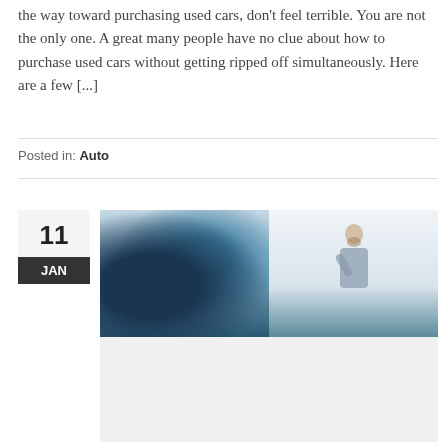the way toward purchasing used cars, don't feel terrible. You are not the only one. A great many people have no clue about how to purchase used cars without getting ripped off simultaneously. Here are a few [...]
Posted in: Auto
[Figure (photo): Composite photo showing a close-up of a car side mirror on the left half and a man in a grey shirt with hand on chin (thinking pose) looking at a car on the right half, with a blurred/grey lower portion]
11 JAN